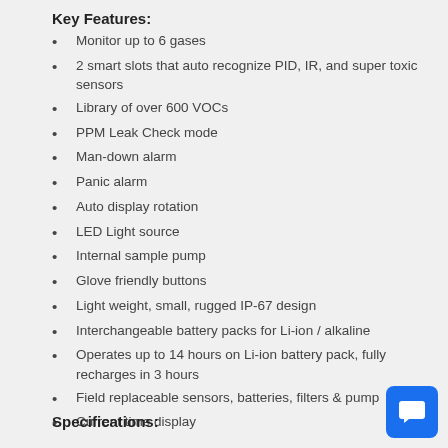Key Features:
Monitor up to 6 gases
2 smart slots that auto recognize PID, IR, and super toxic sensors
Library of over 600 VOCs
PPM Leak Check mode
Man-down alarm
Panic alarm
Auto display rotation
LED Light source
Internal sample pump
Glove friendly buttons
Light weight, small, rugged IP-67 design
Interchangeable battery packs for Li-ion / alkaline
Operates up to 14 hours on Li-ion battery pack, fully recharges in 3 hours
Field replaceable sensors, batteries, filters & pump
Current time display
Specifications: